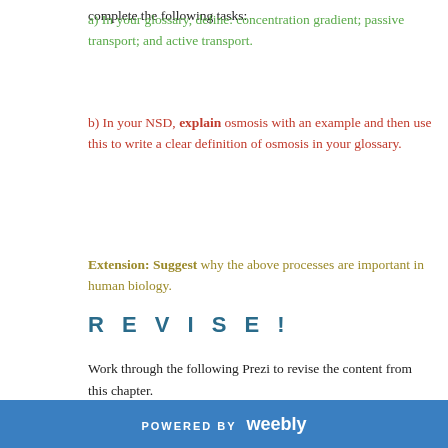complete the following tasks:
a) In your glossary, define: concentration gradient; passive transport; and active transport.
b) In your NSD, explain osmosis with an example and then use this to write a clear definition of osmosis in your glossary.
Extension: Suggest why the above processes are important in human biology.
R E V I S E !
Work through the following Prezi to revise the content from this chapter.
POWERED BY weebly